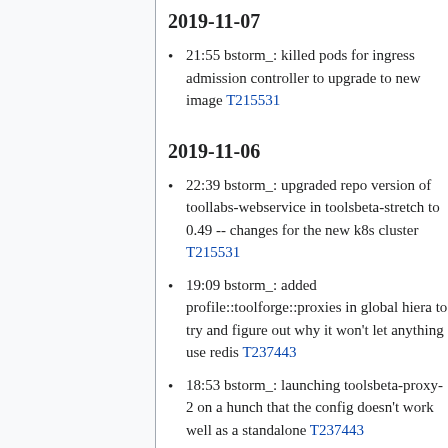2019-11-07
21:55 bstorm_: killed pods for ingress admission controller to upgrade to new image T215531
2019-11-06
22:39 bstorm_: upgraded repo version of toollabs-webservice in toolsbeta-stretch to 0.49 -- changes for the new k8s cluster T215531
19:09 bstorm_: added profile::toolforge::proxies in global hiera to try and figure out why it won't let anything use redis T237443
18:53 bstorm_: launching toolsbeta-proxy-2 on a hunch that the config doesn't work well as a standalone T237443
18:46 bstorm_: rebooting toolsbeta-proxy-1 trying to convince redis it is